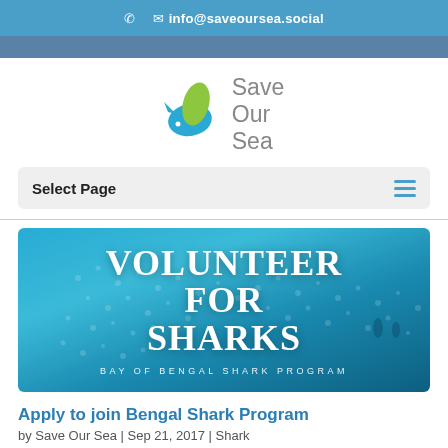✉ info@saveoursea.social
[Figure (logo): Save Our Sea logo — stylized fish shape in blue and green with text 'Save Our Sea' in grey]
Select Page
[Figure (photo): Banner image of a whale shark underwater with text overlay reading 'VOLUNTEER FOR SHARKS — BAY OF BENGAL SHARK PROGRAM']
Apply to join Bengal Shark Program
by Save Our Sea | Sep 21, 2017 | Shark